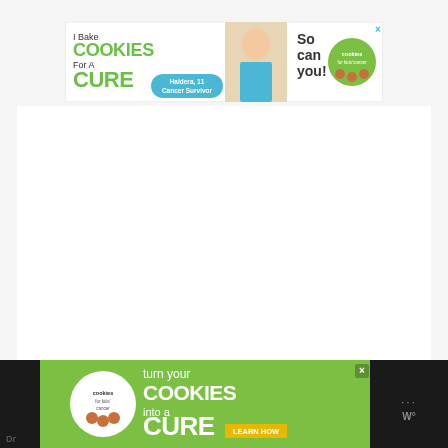[Figure (infographic): Top banner advertisement for Cookies for Kids Cancer. Text reads: 'I Bake COOKIES For A CURE' with a photo of a girl 'Haldera, 11 Cancer Survivor', and 'So can you!' with the Cookies for Kids Cancer logo.]
[Figure (infographic): Bottom banner advertisement for Cookies for Kids Cancer. Green background with white circle logo, text reads: 'turn your COOKIES into a CURE LEARN HOW'. Dark sections on left and right.]